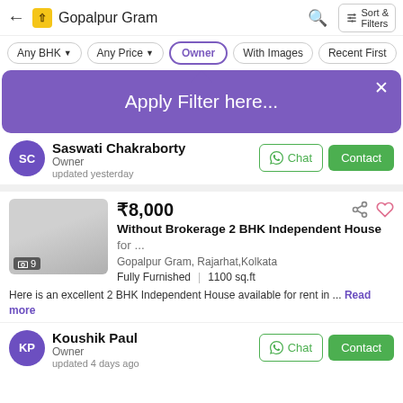Gopalpur Gram
Any BHK | Any Price | Owner | With Images | Recent First
[Figure (screenshot): Purple tooltip box saying 'Apply Filter here...' with close X button and upward pointing arrow]
SC Saswati Chakraborty Owner updated yesterday
Chat | Contact
₹8,000 Without Brokerage 2 BHK Independent House for ... Gopalpur Gram, Rajarhat,Kolkata Fully Furnished | 1100 sq.ft
Here is an excellent 2 BHK Independent House available for rent in ... Read more
KP Koushik Paul Owner updated 4 days ago
Chat | Contact